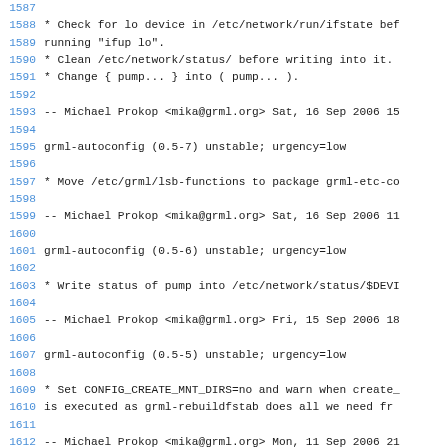1587-1613: Debian changelog entries for grml-autoconfig versions 0.5-5 through 0.5-7, showing bug fixes and maintainer signatures by Michael Prokop <mika@grml.org>